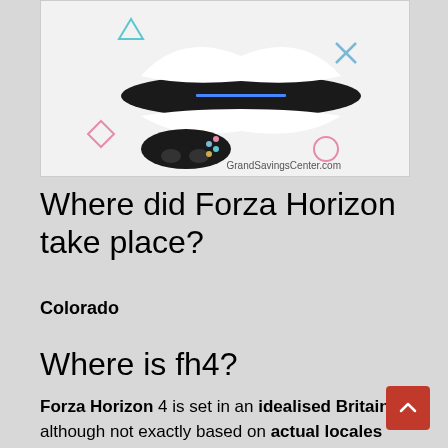[Figure (photo): Advertisement image showing a PlayStation 5 console and controller with decorative geometric shapes and the text GrandSavingsCenter.com]
Where did Forza Horizon take place?
Colorado
Where is fh4?
Forza Horizon 4 is set in an idealised Britain that, although not exactly based on actual locales (aside from a scaled version of Edinburgh), faithfully recreates the terrain, architecture, vegetation, and wildlife of each area…